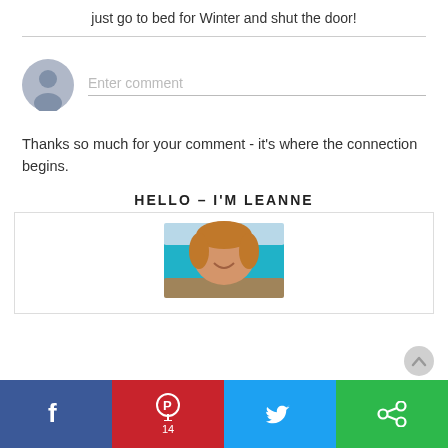just go to bed for Winter and shut the door!
Enter comment
Thanks so much for your comment - it's where the connection begins.
HELLO - I'M LEANNE
[Figure (photo): Circular profile photo of Leanne at a beach with turquoise water]
[Figure (infographic): Social sharing bar with Facebook, Pinterest (14), Twitter, and a green share button]